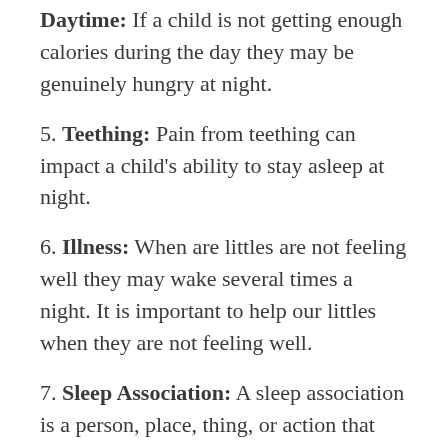Daytime: If a child is not getting enough calories during the day they may be genuinely hungry at night.
5. Teething: Pain from teething can impact a child's ability to stay asleep at night.
6. Illness: When are littles are not feeling well they may wake several times a night. It is important to help our littles when they are not feeling well.
7. Sleep Association: A sleep association is a person, place, thing, or action that helps a child go to sleep. There are several very common